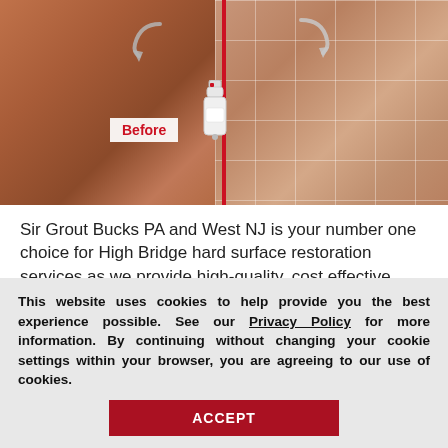[Figure (photo): Before and after comparison image showing tile/floor restoration. Left side shows old worn tiles labeled 'Before', right side shows clean restored tiles with grid pattern. A product bottle is shown in the center.]
Sir Grout Bucks PA and West NJ is your number one choice for High Bridge hard surface restoration services as we provide high-quality, cost effective, and quick results that will exceed your expectations. Call us now for a free estim
This website uses cookies to help provide you the best experience possible. See our Privacy Policy for more information. By continuing without changing your cookie settings within your browser, you are agreeing to our use of cookies.